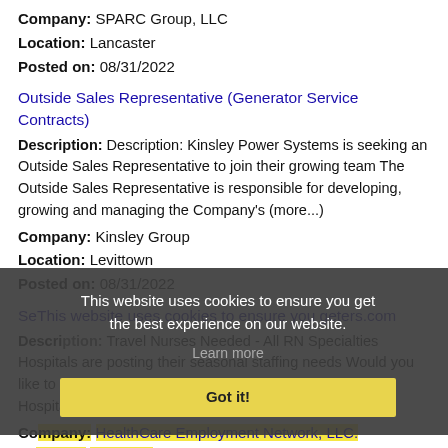Company: SPARC Group, LLC
Location: Lancaster
Posted on: 08/31/2022
Outside Sales Representative (Generator Service Contracts)
Description: Description: Kinsley Power Systems is seeking an Outside Sales Representative to join their growing team The Outside Sales Representative is responsible for developing, growing and managing the Company's (more...)
Company: Kinsley Group
Location: Levittown
Posted on: 08/31/2022
Se...geters.com
Description: Travel Nurses Needed - All RN Specialties Hospitals are posting their seasonal staffing needs Would you like to spend the spring / summer somewhere great The Hospitals have already started posting the (more...)
Company: HealthCare Employment Network, LLC.
Location: Levittown
Posted on: 08/31/2022
Salary in Camden, New Jersey Area | More details for